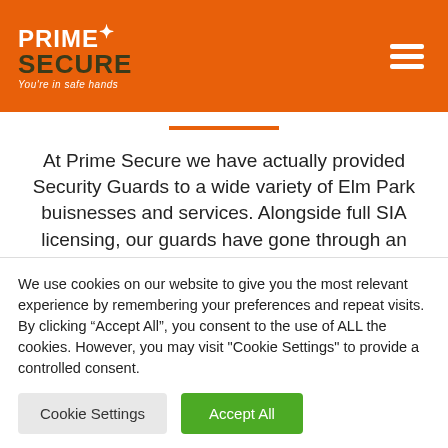Prime Secure - You're in safe hands
At Prime Secure we have actually provided Security Guards to a wide variety of Elm Park buisnesses and services. Alongside full SIA licensing, our guards have gone through an substantial vetting program and training program in order to supply you with correct professional service. With our service we aim to offer you with security
We use cookies on our website to give you the most relevant experience by remembering your preferences and repeat visits. By clicking “Accept All”, you consent to the use of ALL the cookies. However, you may visit "Cookie Settings" to provide a controlled consent.